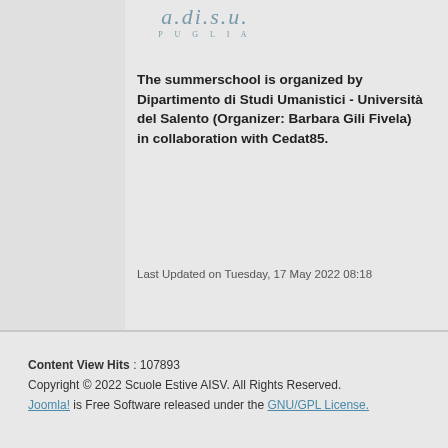[Figure (logo): a.di.s.u. PUGLIA logo in teal/grey italic font]
The summerschool is organized by Dipartimento di Studi Umanistici - Università del Salento (Organizer: Barbara Gili Fivela) in collaboration with Cedat85.
Last Updated on Tuesday, 17 May 2022 08:18
Content View Hits : 107893
Copyright © 2022 Scuole Estive AISV. All Rights Reserved.
Joomla! is Free Software released under the GNU/GPL License.